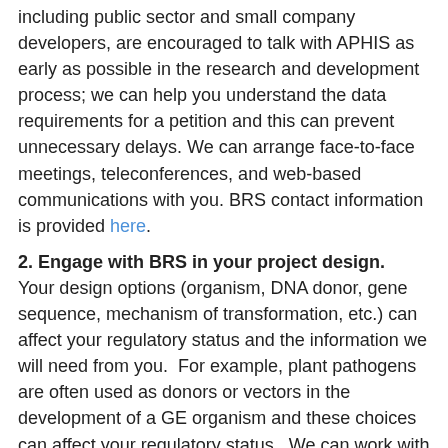including public sector and small company developers, are encouraged to talk with APHIS as early as possible in the research and development process; we can help you understand the data requirements for a petition and this can prevent unnecessary delays. We can arrange face-to-face meetings, teleconferences, and web-based communications with you. BRS contact information is provided here.
2. Engage with BRS in your project design. Your design options (organism, DNA donor, gene sequence, mechanism of transformation, etc.) can affect your regulatory status and the information we will need from you. For example, plant pathogens are often used as donors or vectors in the development of a GE organism and these choices can affect your regulatory status. We can work with you on the information we will need based on your project design. Additional guidance is provided here.
3. Review a petition for a plant with similarities to your new plant variety. Petitions that have been